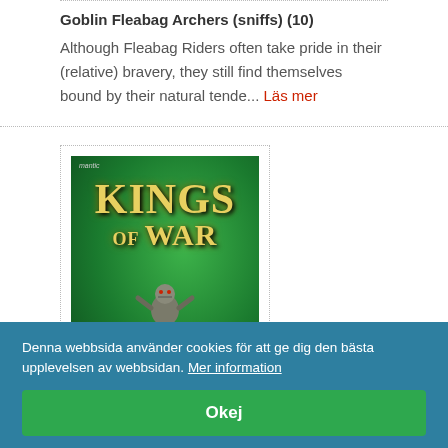Goblin Fleabag Archers (sniffs) (10)
Although Fleabag Riders often take pride in their (relative) bravery, they still find themselves bound by their natural tende... Läs mer
[Figure (photo): Kings of War book/product image with green background and gold stylized text reading 'KINGS OF WAR' with a miniature goblin figure below, Mantic logo in top left]
Denna webbsida använder cookies för att ge dig den bästa upplevelsen av webbsidan. Mer information
Okej